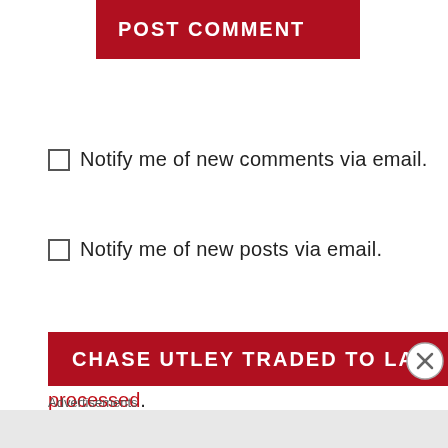[Figure (screenshot): POST COMMENT button with dark red background and white bold uppercase text]
☐ Notify me of new comments via email.
☐ Notify me of new posts via email.
This site uses Akismet to reduce spam. Learn how your comment data is processed.
[Figure (screenshot): CHASE UTLEY TRADED TO LA banner in dark red, partially visible at bottom with close X button and Advertisements label]